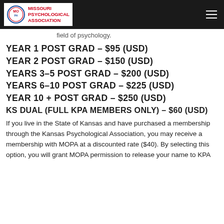Missouri Psychological Association
on of evidence satisfactory to the Boar... ont contribution or performance in the field of psychology.
YEAR 1 POST GRAD – $95 (USD)
YEAR 2 POST GRAD – $150 (USD)
YEARS 3–5 POST GRAD – $200 (USD)
YEARS 6–10 POST GRAD – $225 (USD)
YEAR 10 + POST GRAD – $250 (USD)
KS DUAL (FULL KPA MEMBERS ONLY) – $60 (USD)
If you live in the State of Kansas and have purchased a membership through the Kansas Psychological Association, you may receive a membership with MOPA at a discounted rate ($40). By selecting this option, you will grant MOPA permission to release your name to KPA